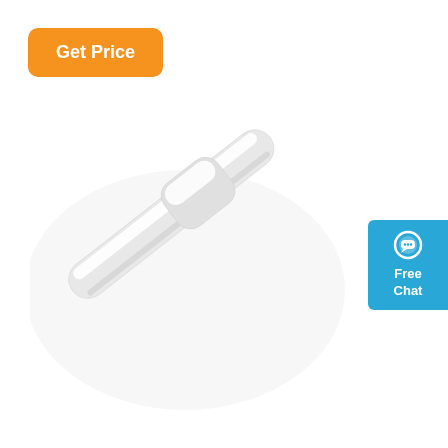[Figure (illustration): Orange rounded rectangle button with white bold text reading 'Get Price']
[Figure (photo): A white LED tube light fixture photographed at a diagonal angle showing the full length of the slim batten light against a white background]
[Figure (illustration): Blue rounded rectangle button on right edge with chat bubble icon and white bold text reading 'Free Chat']